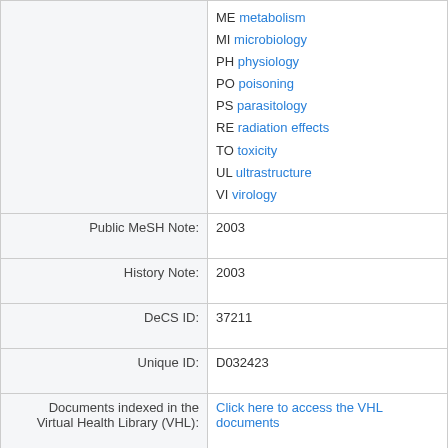| Field | Value |
| --- | --- |
|  | ME metabolism
MI microbiology
PH physiology
PO poisoning
PS parasitology
RE radiation effects
TO toxicity
UL ultrastructure
VI virology |
| Public MeSH Note: | 2003 |
| History Note: | 2003 |
| DeCS ID: | 37211 |
| Unique ID: | D032423 |
| Documents indexed in the Virtual Health Library (VHL): | Click here to access the VHL documents |
| Date Established: | 2003/01/01 |
| Date of Entry: | 2002/07/03 |
| Revision Date: | 2017/07/13 |